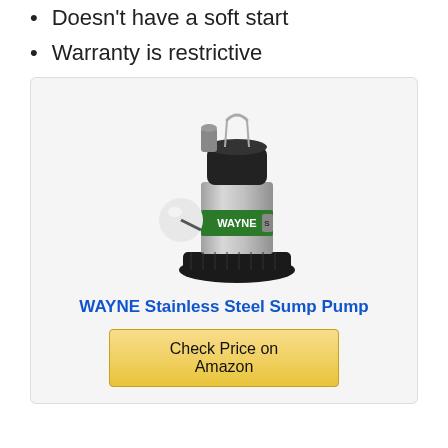Doesn't have a soft start
Warranty is restrictive
[Figure (photo): WAYNE Stainless Steel Sump Pump product photo showing a cylindrical stainless steel pump body with black motor housing on top, white float ball on the left, and black plastic base.]
WAYNE Stainless Steel Sump Pump
Check Price on Amazon